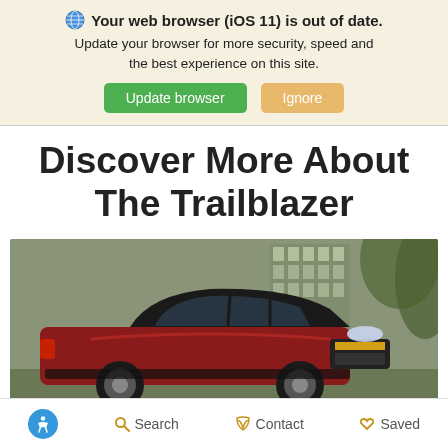Your web browser (iOS 11) is out of date. Update your browser for more security, speed and the best experience on this site. Update browser | Ignore
Discover More About The Trailblazer
[Figure (photo): A red Chevrolet Trailblazer SUV parked in front of a modern building with trees in the background.]
Accessibility | Search | Contact | Saved